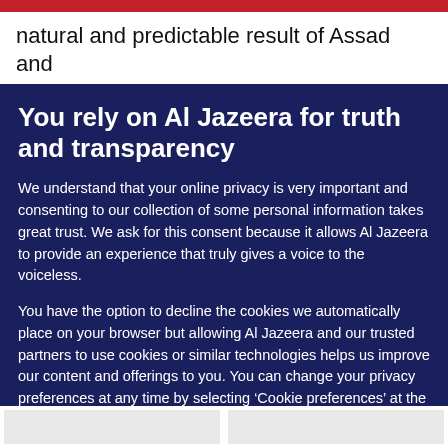natural and predictable result of Assad and
You rely on Al Jazeera for truth and transparency
We understand that your online privacy is very important and consenting to our collection of some personal information takes great trust. We ask for this consent because it allows Al Jazeera to provide an experience that truly gives a voice to the voiceless.
You have the option to decline the cookies we automatically place on your browser but allowing Al Jazeera and our trusted partners to use cookies or similar technologies helps us improve our content and offerings to you. You can change your privacy preferences at any time by selecting ‘Cookie preferences’ at the bottom of your screen. To learn more, please view our Cookie Policy.